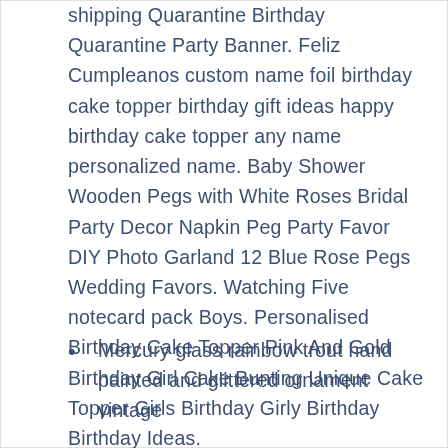shipping Quarantine Birthday Quarantine Party Banner. Feliz Cumpleanos custom name foil birthday cake topper birthday gift ideas happy birthday cake topper any name personalized name. Baby Shower Wooden Pegs with White Roses Bridal Party Decor Napkin Peg Party Favor DIY Photo Garland 12 Blue Rose Pegs Wedding Favors. Watching Five notecard pack Boys. Personalised Birthday Cake Topper Pink And Gold Birthday Girl Cake Bunting Unique Cake Topper Girls Birthday Girly Birthday Birthday Ideas.
Mercury glass rainbow trout hand painted and glittered ornament vintage